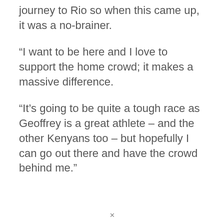journey to Rio so when this came up, it was a no-brainer.
“I want to be here and I love to support the home crowd; it makes a massive difference.
“It’s going to be quite a tough race as Geoffrey is a great athlete – and the other Kenyans too – but hopefully I can go out there and have the crowd behind me.”